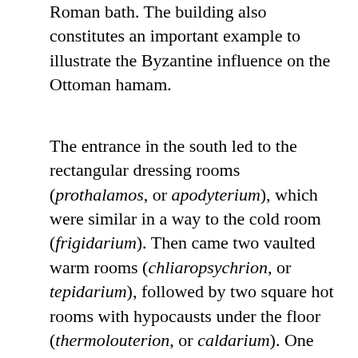Roman bath. The building also constitutes an important example to illustrate the Byzantine influence on the Ottoman hamam.
The entrance in the south led to the rectangular dressing rooms (prothalamos, or apodyterium), which were similar in a way to the cold room (frigidarium). Then came two vaulted warm rooms (chliaropsychrion, or tepidarium), followed by two square hot rooms with hypocausts under the floor (thermolouterion, or caldarium). One caldarium room was covered by a dome supported by an octagonal base with eight windows, while the other had a domed ceiling. The rooms communicate with each other.